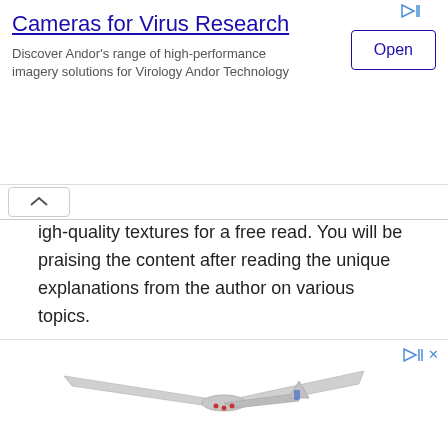[Figure (screenshot): Advertisement banner for 'Cameras for Virus Research' by Andor Technology with an Open button]
Cameras for Virus Research
Discover Andor's range of high-performance imagery solutions for Virology Andor Technology
igh-quality textures for a free read. You will be praising the content after reading the unique explanations from the author on various topics.
Overall good rated the book on Goodreads comprises 700 pages and got an impressive user score of 3.60 out of 5. This book will share numerous ideas about the structure and creativity of how to get a new modern design for buildings, bridges, and roads.
[Figure (photo): Advertisement showing a drone/UAV aircraft in the bottom portion of the page]